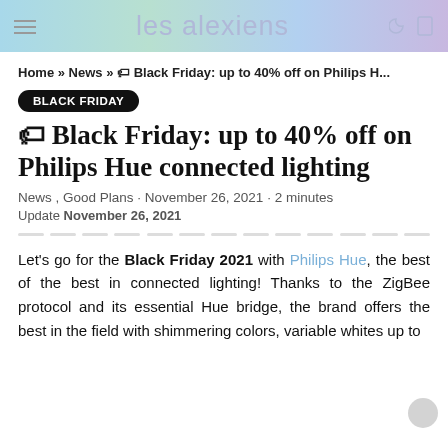les alexiens
Home » News » 🏷 Black Friday: up to 40% off on Philips H...
BLACK FRIDAY
🏷 Black Friday: up to 40% off on Philips Hue connected lighting
News , Good Plans · November 26, 2021 · 2 minutes
Update November 26, 2021
Let's go for the Black Friday 2021 with Philips Hue, the best of the best in connected lighting! Thanks to the ZigBee protocol and its essential Hue bridge, the brand offers the best in the field with shimmering colors, variable whites up to